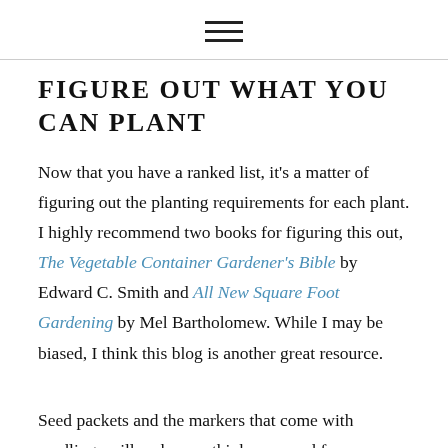[Figure (other): Hamburger menu icon — three horizontal lines]
FIGURE OUT WHAT YOU CAN PLANT
Now that you have a ranked list, it's a matter of figuring out the planting requirements for each plant. I highly recommend two books for figuring this out, The Vegetable Container Gardener's Bible by Edward C. Smith and All New Square Foot Gardening by Mel Bartholomew. While I may be biased, I think this blog is another great resource.
Seed packets and the markers that come with seedlings will make you think you need far more space than you actually do. Since you'll be growing in